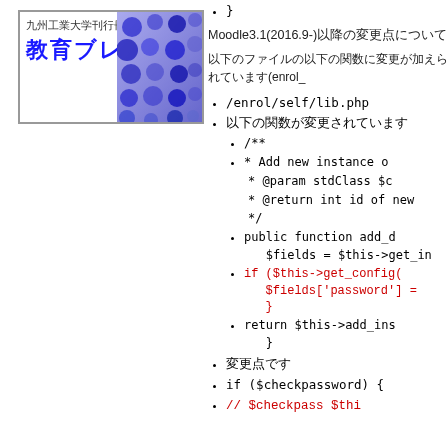[Figure (logo): 九州工業大学刊行冊子 教育ブレティン logo with blue circles pattern]
}
Moodle3.1(2016.9-)以降の変更点について
以下のファイルの以下の関数に変更が加えられています(enrol_
/enrol/self/lib.php
以下の関数が変更されています
/**
* Add new instance o
* @param stdClass $c
   * @return int id of new
   */
public function add_d
   $fields = $this->get_in
if ($this->get_config(
   $fields['password'] =
   }
return $this->add_ins
   }
変更点です
if ($checkpassword) {
// $checkpass $thi